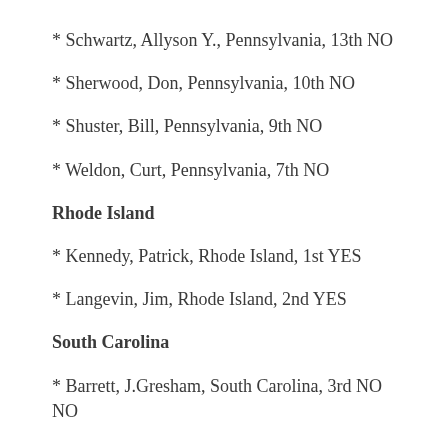* Schwartz, Allyson Y., Pennsylvania, 13th NO
* Sherwood, Don, Pennsylvania, 10th NO
* Shuster, Bill, Pennsylvania, 9th NO
* Weldon, Curt, Pennsylvania, 7th NO
Rhode Island
* Kennedy, Patrick, Rhode Island, 1st YES
* Langevin, Jim, Rhode Island, 2nd YES
South Carolina
* Barrett, J.Gresham, South Carolina, 3rd NO NO